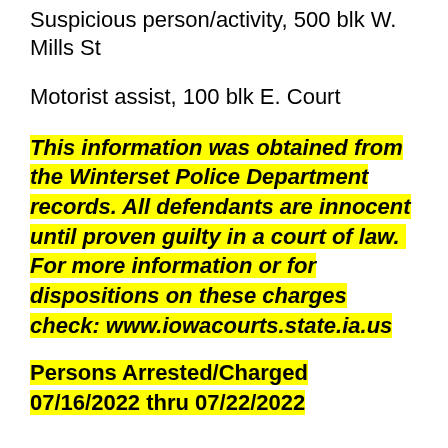Suspicious person/activity, 500 blk W. Mills St
Motorist assist, 100 blk E. Court
This information was obtained from the Winterset Police Department records. All defendants are innocent until proven guilty in a court of law. For more information or for dispositions on these charges check: www.iowacourts.state.ia.us
Persons Arrested/Charged 07/16/2022 thru 07/22/2022